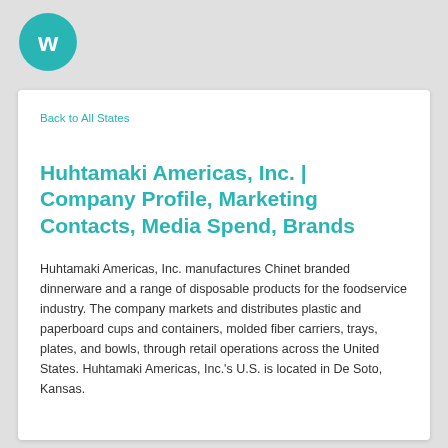[Figure (logo): Wunderkind/W logo — teal circular badge with white stylized W letter]
Back to All States
Huhtamaki Americas, Inc. | Company Profile, Marketing Contacts, Media Spend, Brands
Huhtamaki Americas, Inc. manufactures Chinet branded dinnerware and a range of disposable products for the foodservice industry. The company markets and distributes plastic and paperboard cups and containers, molded fiber carriers, trays, plates, and bowls, through retail operations across the United States. Huhtamaki Americas, Inc.'s U.S. is located in De Soto, Kansas.